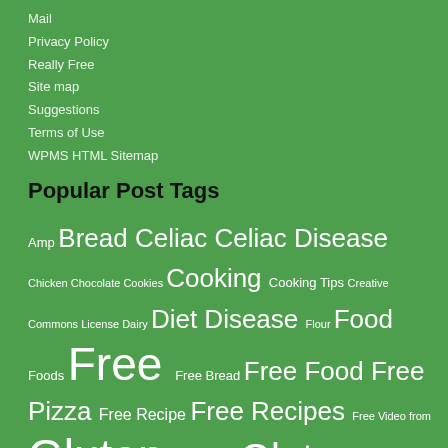Mail
Privacy Policy
Really Free
Site map
Suggestions
Terms of Use
WPMS HTML Sitemap
Popular Post Tags
Amp Bread Celiac Celiac Disease Chicken Chocolate Cookies Cooking Cooking Tips Creative Commons License Dairy Diet Disease Flour Food Foods Free Free Bread Free Food Free Pizza Free Recipe Free Recipes Free Video from Gluten Gluten Flour Gluten Free Glutenfree Gluten Free Diet Gluten Free Recipes Gluten Intolerance Health Intolerance Living part Pizza Recipe recipes Review Royalty Free Music Tina Turbin Vegan Video Wheat